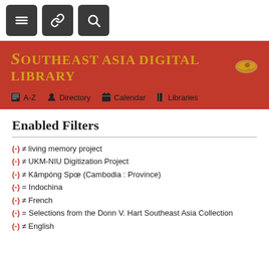[Figure (screenshot): Top navigation bar with three dark square icon buttons: hamburger menu, link/chain icon, and search/magnifying glass icon]
[Figure (logo): Southeast Asia Digital Library header banner in dark red with gold serif title text and decorative dragon logo, plus nav links: A-Z, Directory, Calendar, Libraries]
Enabled Filters
(-) ≠ living memory project
(-) ≠ UKM-NIU Digitization Project
(-) ≠ Kâmpóng Spœ (Cambodia : Province)
(-) = Indochina
(-) ≠ French
(-) = Selections from the Donn V. Hart Southeast Asia Collection
(-) ≠ English